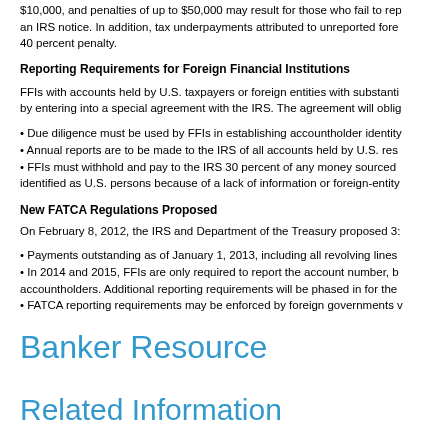$10,000, and penalties of up to $50,000 may result for those who fail to report after receiving an IRS notice. In addition, tax underpayments attributed to unreported foreign accounts carry a 40 percent penalty.
Reporting Requirements for Foreign Financial Institutions
FFIs with accounts held by U.S. taxpayers or foreign entities with substantial U.S. ownership comply by entering into a special agreement with the IRS. The agreement will oblig...
• Due diligence must be used by FFIs in establishing accountholder identity...
• Annual reports are to be made to the IRS of all accounts held by U.S. res...
• FFIs must withhold and pay to the IRS 30 percent of any money sourced ... identified as U.S. persons because of a lack of information or foreign-entity...
New FATCA Regulations Proposed
On February 8, 2012, the IRS and Department of the Treasury proposed 3...
• Payments outstanding as of January 1, 2013, including all revolving lines...
• In 2014 and 2015, FFIs are only required to report the account number, b... accountholders. Additional reporting requirements will be phased in for the...
• FATCA reporting requirements may be enforced by foreign governments...
Banker Resource
Related Information